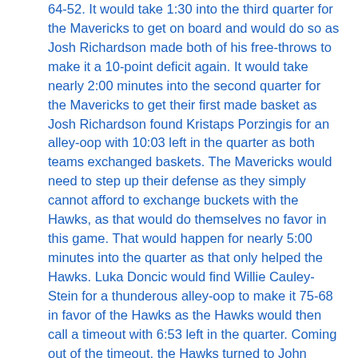64-52. It would take 1:30 into the third quarter for the Mavericks to get on board and would do so as Josh Richardson made both of his free-throws to make it a 10-point deficit again. It would take nearly 2:00 minutes into the second quarter for the Mavericks to get their first made basket as Josh Richardson found Kristaps Porzingis for an alley-oop with 10:03 left in the quarter as both teams exchanged baskets. The Mavericks would need to step up their defense as they simply cannot afford to exchange buckets with the Hawks, as that would do themselves no favor in this game. That would happen for nearly 5:00 minutes into the quarter as that only helped the Hawks. Luka Doncic would find Willie Cauley-Stein for a thunderous alley-oop to make it 75-68 in favor of the Hawks as the Hawks would then call a timeout with 6:53 left in the quarter. Coming out of the timeout, the Hawks turned to John Collins for an easy layup to extend their lead to 77-68. The Mavericks continued to struggle on offense as the Hawks used that to their advantage by getting points out of it. Rick Carlisle would call a timeout with 4:52 left in the quarter as the Mavericks felt the cold weather outside which matched their shooting as their deficit grew to 81-68. Coming out of the timeout, the Mavericks turned to Luka Doncic as he was fouled trying to make a layup and would make both of his free-throws to come within 81-70 with 4:40 left in the quarter. The Mavericks